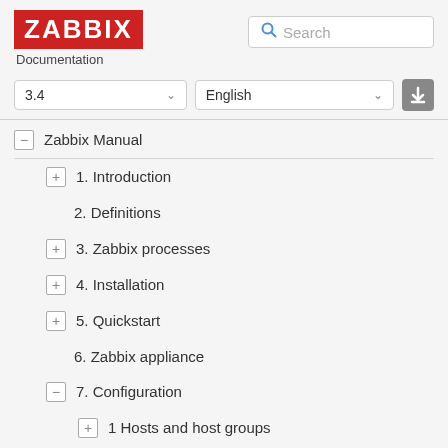ZABBIX Documentation
3.4 | English
− Zabbix Manual
+ 1. Introduction
2. Definitions
+ 3. Zabbix processes
+ 4. Installation
+ 5. Quickstart
6. Zabbix appliance
− 7. Configuration
+ 1 Hosts and host groups
− 2 Items
+ 1 Creating an item